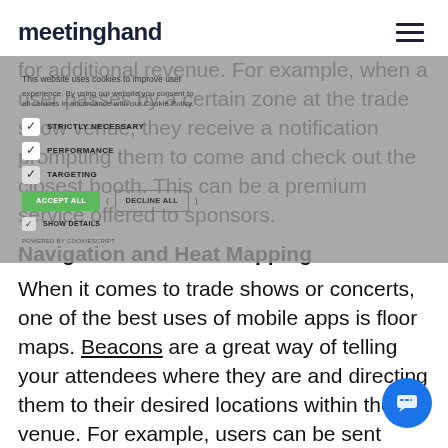meetinghand
for additional revenue. For example, when a user passes by a certain zone at the trade show venue, they receive a notification prompting them to come and check out the closest booth. This can be a premium service offered to sponsors.
Navigation and Heat Mapping
When it comes to trade shows or concerts, one of the best uses of mobile apps is floor maps. Beacons are a great way of telling your attendees where they are and directing them to their desired locations within the venue. For example, users can be sent notifications about a session that is about to commence